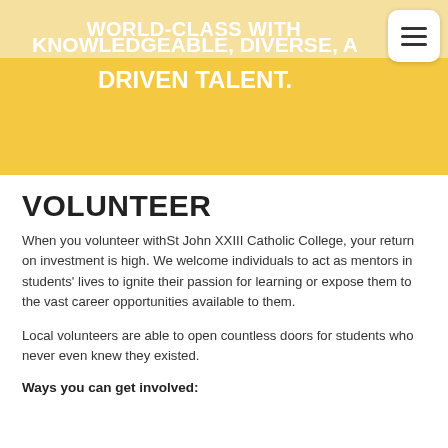KNOWLEDGEABLE, DIVERSE, AND DRIVEN TALENT.
VOLUNTEER
When you volunteer withSt John XXIII Catholic College, your return on investment is high. We welcome individuals to act as mentors in students' lives to ignite their passion for learning or expose them to the vast career opportunities available to them.
Local volunteers are able to open countless doors for students who never even knew they existed.
Ways you can get involved: